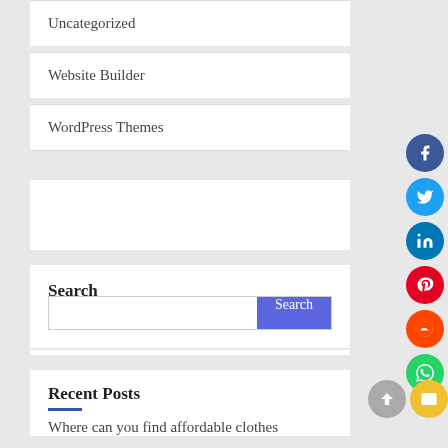Uncategorized
Website Builder
WordPress Themes
Search
Recent Posts
Where can you find affordable clothes